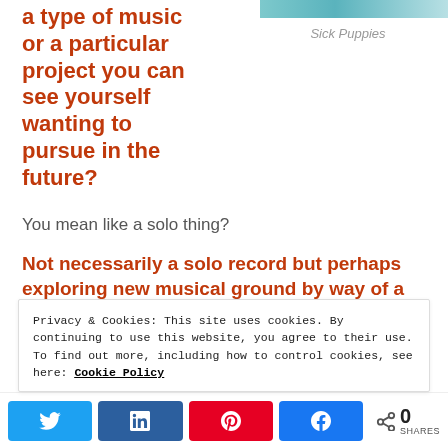a type of music or a particular project you can see yourself wanting to pursue in the future?
[Figure (photo): Photo of Sick Puppies band]
Sick Puppies
You mean like a solo thing?
Not necessarily a solo record but perhaps exploring new musical ground by way of a
Privacy & Cookies: This site uses cookies. By continuing to use this website, you agree to their use.
To find out more, including how to control cookies, see here: Cookie Policy
0 SHARES